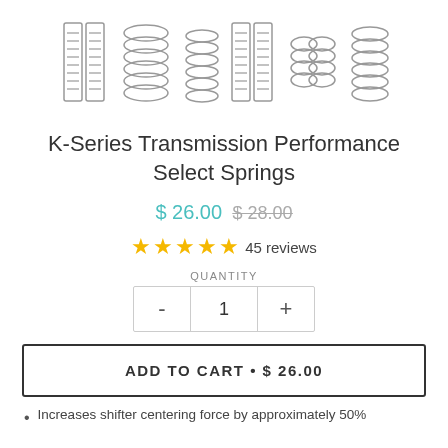[Figure (illustration): Row of various coil springs illustrations in gray/black outline style]
K-Series Transmission Performance Select Springs
$ 26.00  $ 28.00
★★★★★ 45 reviews
QUANTITY
- 1 +
ADD TO CART • $ 26.00
Increases shifter centering force by approximately 50%